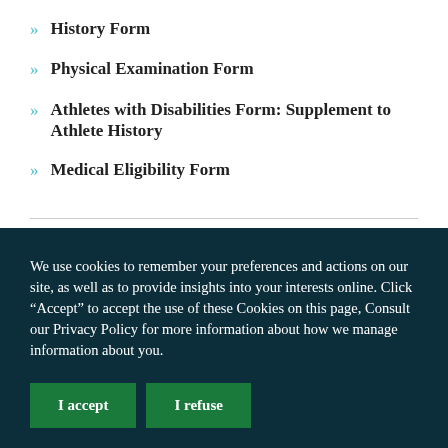History Form
Physical Examination Form
Athletes with Disabilities Form: Supplement to Athlete History
Medical Eligibility Form
We use cookies to remember your preferences and actions on our site, as well as to provide insights into your interests online. Click “Accept” to accept the use of these Cookies on this page, Consult our Privacy Policy for more information about how we manage information about you.
I accept | I refuse